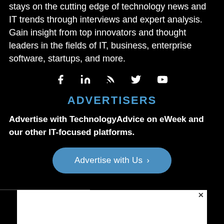stays on the cutting edge of technology news and IT trends through interviews and expert analysis. Gain insight from top innovators and thought leaders in the fields of IT, business, enterprise software, startups, and more.
[Figure (infographic): Row of social media icons: Facebook, LinkedIn, RSS, Twitter, YouTube]
ADVERTISERS
Advertise with TechnologyAdvice on eWeek and our other IT-focused platforms.
[Figure (infographic): Blue rounded button labeled 'Advertise with Us >']
[Figure (other): White advertisement box with close (x) button at bottom of page]